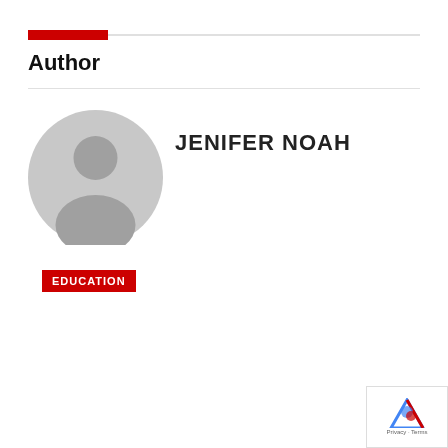Author
[Figure (illustration): Default user avatar - grey circle with person silhouette]
JENIFER NOAH
EDUCATION
[Figure (logo): reCAPTCHA logo badge with Privacy and Terms text]